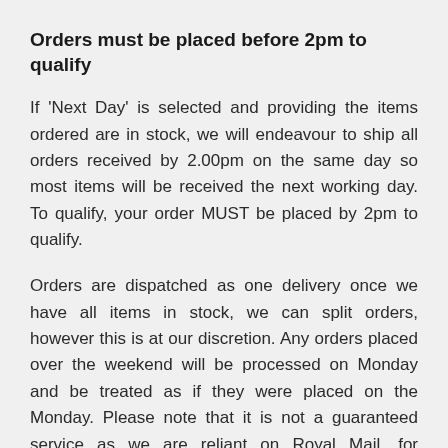Orders must be placed before 2pm to qualify
If 'Next Day' is selected and providing the items ordered are in stock, we will endeavour to ship all orders received by 2.00pm on the same day so most items will be received the next working day. To qualify, your order MUST be placed by 2pm to qualify.
Orders are dispatched as one delivery once we have all items in stock, we can split orders, however this is at our discretion. Any orders placed over the weekend will be processed on Monday and be treated as if they were placed on the Monday. Please note that it is not a guaranteed service as we are reliant on Royal Mail, for example during peak Christmas weeks or adverse weather conditions we cannot